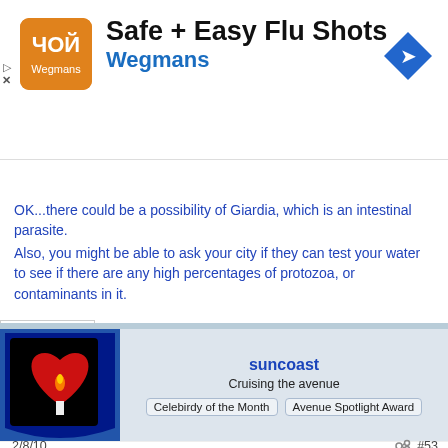[Figure (infographic): Advertisement banner for Safe + Easy Flu Shots at Wegmans with logo and navigation arrow icon]
OK...there could be a possibility of Giardia, which is an intestinal parasite.
Also, you might be able to ask your city if they can test your water to see if there are any high percentages of protozoa, or contaminants in it.
[Figure (photo): User avatar: red heart with candle flame on black background in a blue-bordered square]
suncoast
Cruising the avenue
Celebirdy of the Month  Avenue Spotlight Award
2/8/10   #53
With her plucking her chest and wings, could it be giardia? What about polyfollicutlitis? That is where there is more than one feather in a follicle.